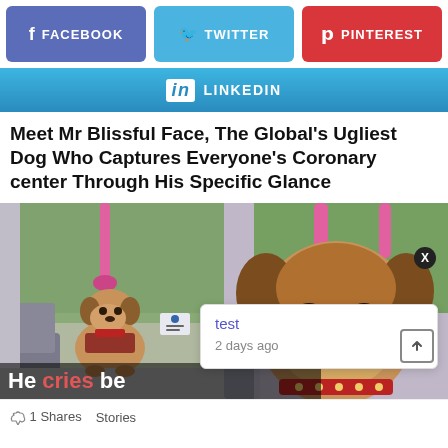[Figure (screenshot): Social share buttons: Facebook (purple/blue), Twitter (light blue), Pinterest (red)]
[Figure (screenshot): LinkedIn share button (blue gradient)]
Meet Mr Blissful Face, The Global's Ugliest Dog Who Captures Everyone's Coronary center Through His Specific Glance
[Figure (photo): Two photos of a dog (boxer/pug mix) sitting on a bus holding a pink strap handle, wearing a red harness and collar. Left: full body shot. Right: close-up of face.]
He cries be
test
2 days ago
1 Shares   Stories